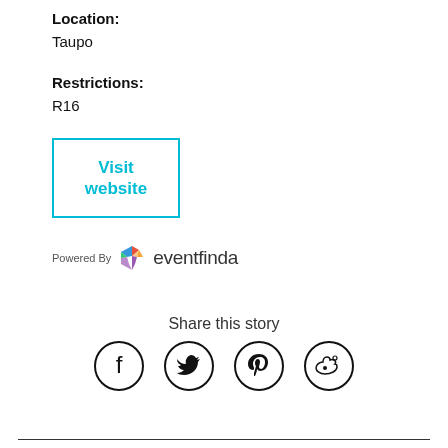Location:
Taupo
Restrictions:
R16
Visit website
[Figure (logo): Powered By eventfinda logo with colorful geometric icon]
Share this story
[Figure (infographic): Four social media icons in circles: Facebook, Twitter, Pinterest, Weibo]